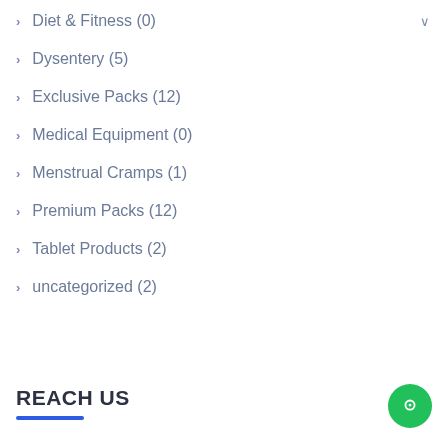Diet & Fitness (0)
Dysentery (5)
Exclusive Packs (12)
Medical Equipment (0)
Menstrual Cramps (1)
Premium Packs (12)
Tablet Products (2)
uncategorized (2)
REACH US